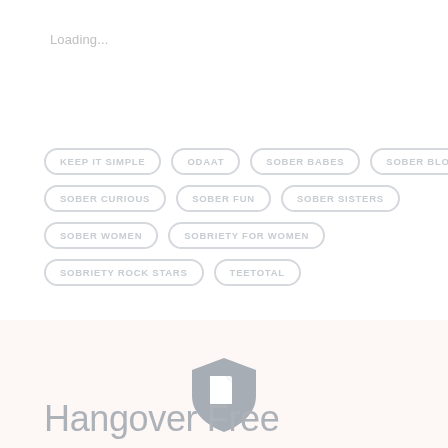Loading...
KEEP IT SIMPLE
ODAAT
SOBER BABES
SOBER BLOG
SOBER CURIOUS
SOBER FUN
SOBER SISTERS
SOBER WOMEN
SOBRIETY FOR WOMEN
SOBRIETY ROCK STARS
TEETOTAL
[Figure (logo): Shield/document icon in gray]
Hangover Free